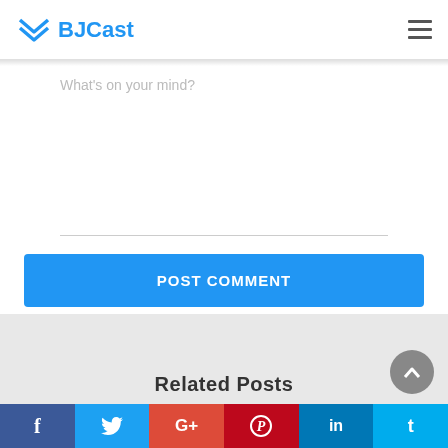BJCast
What's on your mind?
[Figure (screenshot): POST COMMENT button area with text input and divider line]
Related Posts
f  Twitter  G+  Pinterest  in  t — social sharing bar